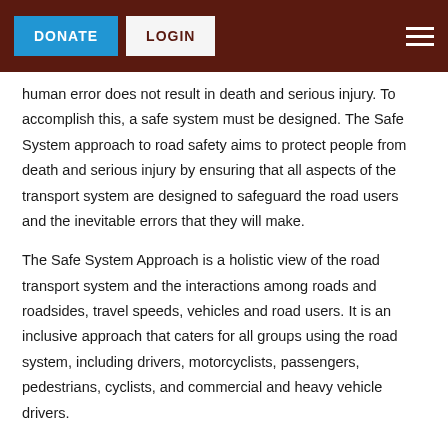DONATE  LOGIN
human error does not result in death and serious injury. To accomplish this, a safe system must be designed. The Safe System approach to road safety aims to protect people from death and serious injury by ensuring that all aspects of the transport system are designed to safeguard the road users and the inevitable errors that they will make.
The Safe System Approach is a holistic view of the road transport system and the interactions among roads and roadsides, travel speeds, vehicles and road users. It is an inclusive approach that caters for all groups using the road system, including drivers, motorcyclists, passengers, pedestrians, cyclists, and commercial and heavy vehicle drivers.